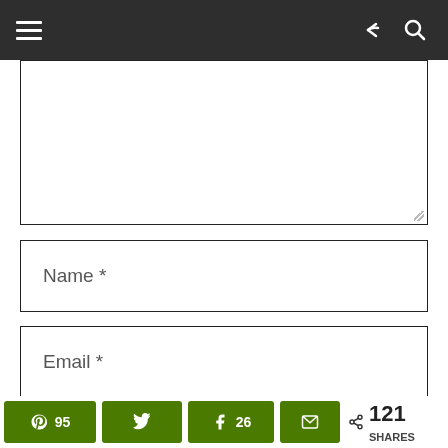Navigation header with hamburger menu, share and search icons
[Figure (screenshot): Empty comment text area input box]
[Figure (screenshot): Name input field with placeholder text 'Name *']
[Figure (screenshot): Email input field with placeholder text 'Email *']
[Figure (screenshot): Website input field with placeholder text 'Website' (partially visible)]
95 [Pinterest] | [Twitter] | 26 [Facebook] | [Email] < 121 SHARES